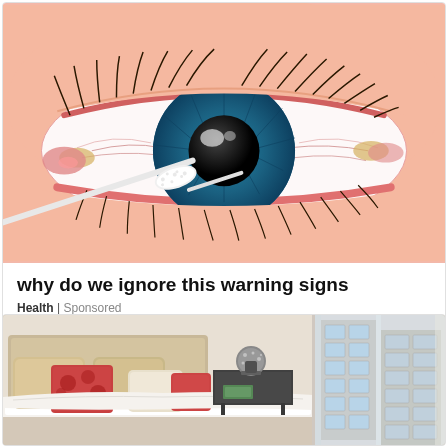[Figure (illustration): Medical illustration of a close-up human eye with blue iris, inflamed/reddened whites and eyelid margins, visible eyelashes, and a cotton swab applying to the inner corner of the eye. Skin tone is peach/pink. The eye appears to show symptoms of infection or irritation.]
why do we ignore this warning signs
Health | Sponsored
[Figure (photo): Photo of a neatly made bed with white bedding, tan/beige headboard, decorative pillows including coral/red patterned pillows, a dark bedside table with decorative items. Right side shows a cityscape view through large windows with high-rise buildings.]